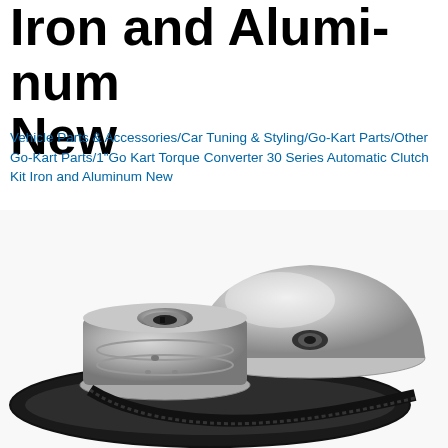Iron and Aluminum New
Vehicle Parts & Accessories/Car Tuning & Styling/Go-Kart Parts/Other Go-Kart Parts/1"Go Kart Torque Converter 30 Series Automatic Clutch Kit Iron and Aluminum New
[Figure (photo): Photo of a go-kart torque converter kit showing two metal clutch pulleys (one smaller iron centrifugal clutch on the left, one larger aluminum driven pulley on the right) connected by a black toothed drive belt, all on a white background.]